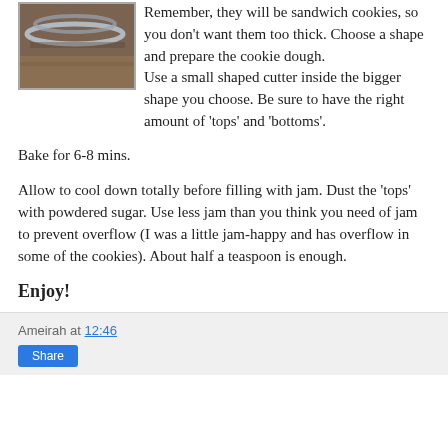[Figure (photo): Partial photo of cookie cutters or baking tools on a wooden surface, showing the bottom portion of the image]
Remember, they will be sandwich cookies, so you don't want them too thick. Choose a shape and prepare the cookie dough. Use a small shaped cutter inside the bigger shape you choose. Be sure to have the right amount of 'tops' and 'bottoms'.
Bake for 6-8 mins.
Allow to cool down totally before filling with jam. Dust the 'tops' with powdered sugar. Use less jam than you think you need of jam to prevent overflow (I was a little jam-happy and has overflow in some of the cookies). About half a teaspoon is enough.
Enjoy!
Ameirah at 12:46